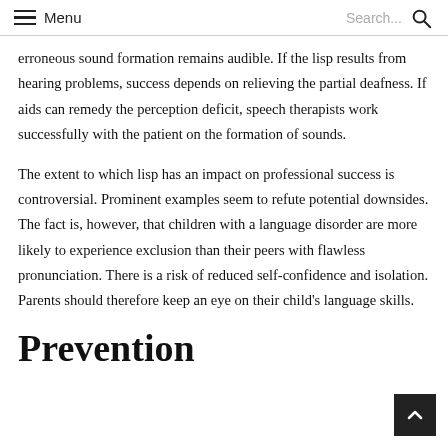Menu  Search...
erroneous sound formation remains audible. If the lisp results from hearing problems, success depends on relieving the partial deafness. If aids can remedy the perception deficit, speech therapists work successfully with the patient on the formation of sounds.
The extent to which lisp has an impact on professional success is controversial. Prominent examples seem to refute potential downsides. The fact is, however, that children with a language disorder are more likely to experience exclusion than their peers with flawless pronunciation. There is a risk of reduced self-confidence and isolation. Parents should therefore keep an eye on their child's language skills.
Prevention